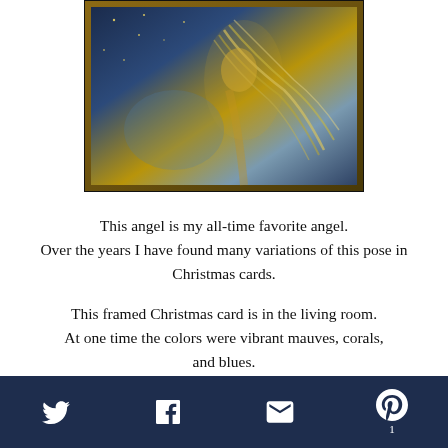[Figure (photo): A decorative pillow featuring an angel figure with long flowing hair against a dark blue starry background with golden accents, bordered in dark navy and brown trim.]
This angel is my all-time favorite angel. Over the years I have found many variations of this pose in Christmas cards.
This framed Christmas card is in the living room. At one time the colors were vibrant mauves, corals, and blues. Because the card is displayed all year, the sun has faded the colors into softer muted tones.
Twitter | Facebook | Email | Pinterest | 1